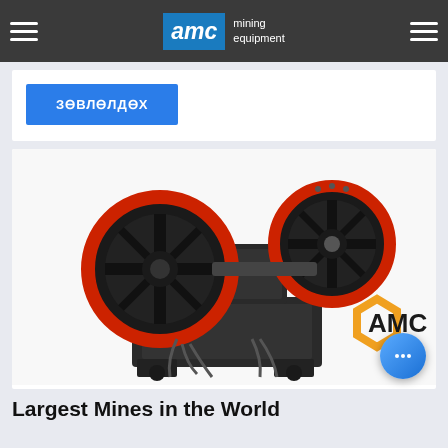AMC mining equipment
ЗӨВЛӨЛДӨХ
[Figure (photo): Jaw crusher mining equipment with large red-rimmed flywheels, black body, with AMC logo watermark in bottom right corner]
Largest Mines in the World